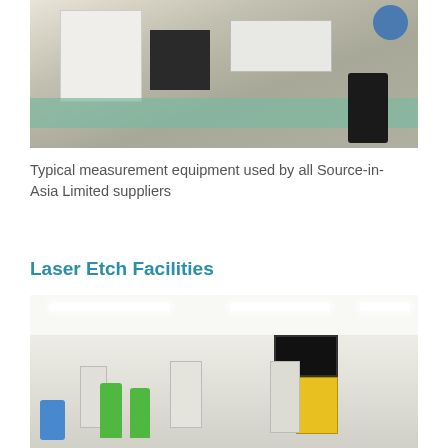[Figure (photo): Photo of typical measurement equipment on a green workbench in a laboratory setting, with a black box instrument underneath, a black office chair, and a blue stool visible.]
Typical measurement equipment used by all Source-in-Asia Limited suppliers
Laser Etch Facilities
[Figure (photo): Photo of a large bright laser etch facility room with white walls, fluorescent lighting, laser etching machines on stands, workers in green vests, a flat-screen TV monitor mounted high, and a yellow safety sign.]